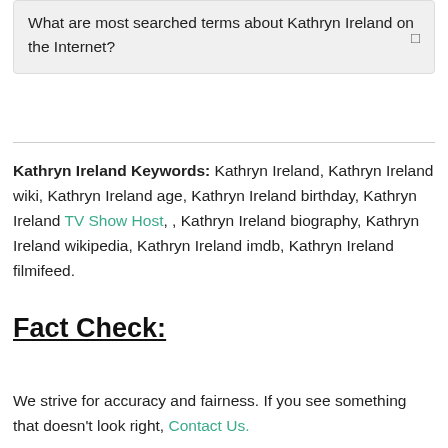What are most searched terms about Kathryn Ireland on the Internet?
Kathryn Ireland Keywords: Kathryn Ireland, Kathryn Ireland wiki, Kathryn Ireland age, Kathryn Ireland birthday, Kathryn Ireland TV Show Host, , Kathryn Ireland biography, Kathryn Ireland wikipedia, Kathryn Ireland imdb, Kathryn Ireland filmifeed.
Fact Check:
We strive for accuracy and fairness. If you see something that doesn't look right, Contact Us.